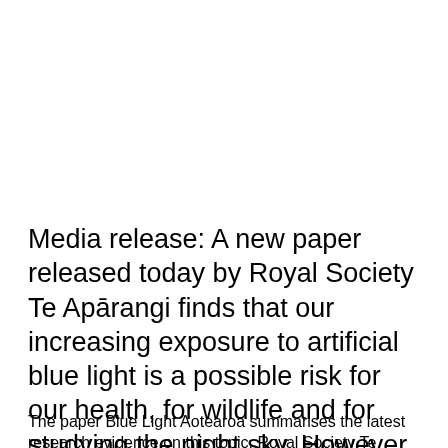Media release: A new paper released today by Royal Society Te Apārangi finds that our increasing exposure to artificial blue light is a possible risk for our health, for wildlife and for studying the night sky. However, there are many things we can do to protect ourselves and te taiao the environment from artificial blue light.
The paper Blue Light Aotearoa summarises the latest research evidence on this topic. Royal Society Te Apārangi